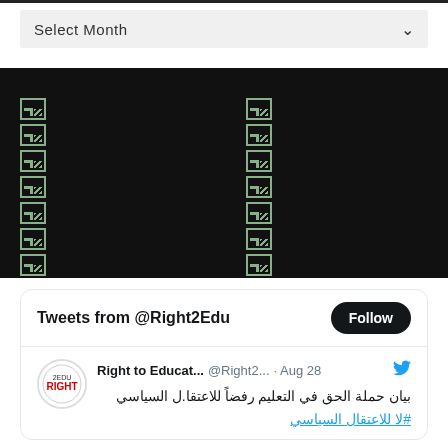Select Month
[Figure (screenshot): Dark section with two columns of broken image icons on a black background]
[Figure (screenshot): Twitter widget showing Tweets from @Right2Edu with a Follow button, and a tweet from Right to Educat... @Right2... · Aug 28 in Arabic text: بيان حملة الحق في التعليم رفضاً للاعتقا.ل السياسي #لا للاعتقال السياسي]